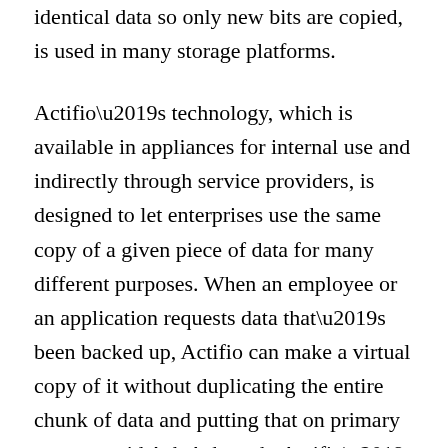identical data so only new bits are copied, is used in many storage platforms.
Actifio’s technology, which is available in appliances for internal use and indirectly through service providers, is designed to let enterprises use the same copy of a given piece of data for many different purposes. When an employee or an application requests data that’s been backed up, Actifio can make a virtual copy of it without duplicating the entire chunk of data and putting that on primary storage, said Ash Ashutosh, Actifio’s CEO.
The system isn’t limited to creating just that one copy